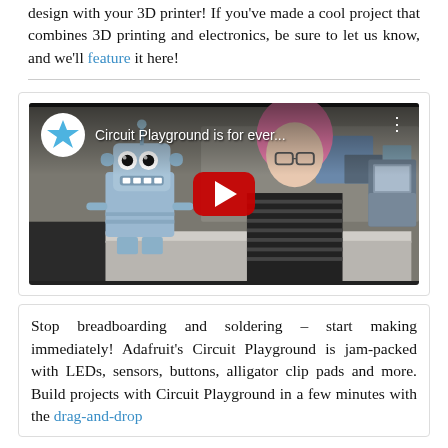design with your 3D printer! If you've made a cool project that combines 3D printing and electronics, be sure to let us know, and we'll feature it here!
[Figure (screenshot): YouTube video thumbnail showing 'Circuit Playground is for ever...' with a robot mascot and a woman with pink hair sitting at a desk. Adafruit star logo shown in top-left of video. Red play button in center.]
Stop breadboarding and soldering – start making immediately! Adafruit's Circuit Playground is jam-packed with LEDs, sensors, buttons, alligator clip pads and more. Build projects with Circuit Playground in a few minutes with the drag-and-drop